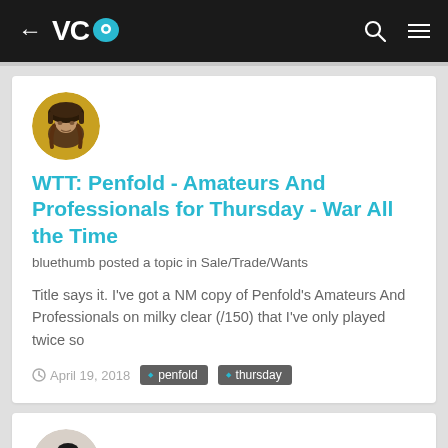VC [logo] — navigation bar with back arrow, search, and menu icons
[Figure (photo): Round avatar photo of a person wearing a large fur hat, historical costume style]
WTT: Penfold - Amateurs And Professionals for Thursday - War All the Time
bluethumb posted a topic in Sale/Trade/Wants
Title says it. I've got a NM copy of Penfold's Amateurs And Professionals on milky clear (/150) that I've only played twice so
April 19, 2018   penfold   thursday
[Figure (photo): Round avatar photo of a person with beard, profile view, dark tones]